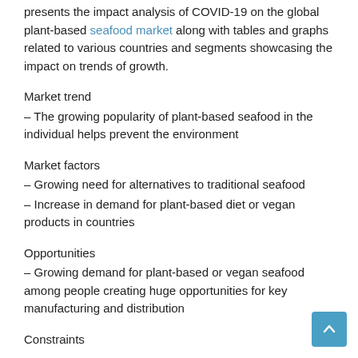presents the impact analysis of COVID-19 on the global plant-based seafood market along with tables and graphs related to various countries and segments showcasing the impact on trends of growth.
Market trend
– The growing popularity of plant-based seafood in the individual helps prevent the environment
Market factors
– Growing need for alternatives to traditional seafood
– Increase in demand for plant-based diet or vegan products in countries
Opportunities
– Growing demand for plant-based or vegan seafood among people creating huge opportunities for key manufacturing and distribution
Constraints